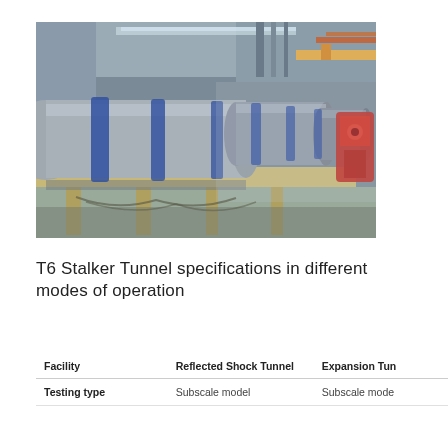[Figure (photo): Interior photo of the T6 Stalker Tunnel facility showing a long series of cylindrical metal pressure tubes (shock tube sections) mounted on beige/yellow support stands in an industrial laboratory environment. Blue clamps secure the tube sections. Red machinery visible at the far end. Overhead infrastructure including pipes and crane visible.]
T6 Stalker Tunnel specifications in different modes of operation
| Facility | Reflected Shock Tunnel | Expansion Tun |
| --- | --- | --- |
| Testing type | Subscale model | Subscale mode |